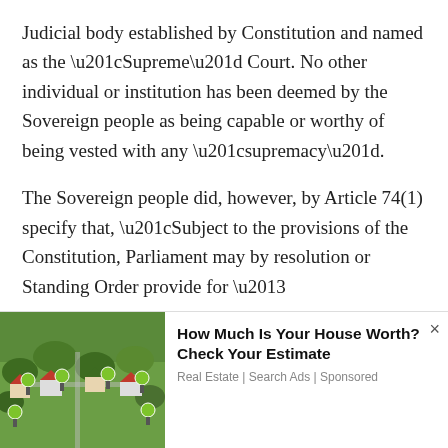Judicial body established by Constitution and named as the “Supreme” Court. No other individual or institution has been deemed by the Sovereign people as being capable or worthy of being vested with any “supremacy”.
The Sovereign people did, however, by Article 74(1) specify that, “Subject to the provisions of the Constitution, Parliament may by resolution or Standing Order provide for –
(i)	the election and retirement of the Speaker, the Deputy Speaker and the Deputy Chairman of Committees, and
(ii)	the regulation of its businesss, the
[Figure (photo): Advertisement banner: aerial photo of a suburban neighborhood with green lawn signs, with text 'How Much Is Your House Worth? Check Your Estimate' from Real Estate Search Ads (Sponsored)]